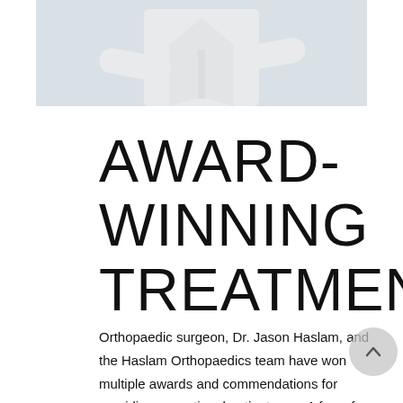[Figure (photo): Photo of an orthopaedic surgeon (Dr. Jason Haslam) wearing a white lab coat, arms crossed, cropped to show torso only against a light grey background.]
AWARD-WINNING TREATMENT
Orthopaedic surgeon, Dr. Jason Haslam, and the Haslam Orthopaedics team have won multiple awards and commendations for providing exceptional patient care. A few of these include being named to Nashville Lifestyle's Top Doctors list multiple years in a row, as well as receiving Vitals Patient's Choice Award (2008...